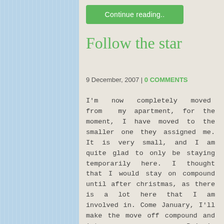[Figure (other): Green 'Continue reading..' button]
Follow the star
9 December, 2007 | 0 COMMENTS
I'm now completely moved from my apartment, for the moment, I have moved to the smaller one they assigned me. It is very small, and I am quite glad to only be staying temporarily here. I thought that I would stay on compound until after christmas, as there is a lot here that I am involved in. Come January, I'll make the move off compound and into Brian's <strike>farm</strike> house. I'm quite looking forward to it, it will enable me to see so much more of the city and Addis life, rat...